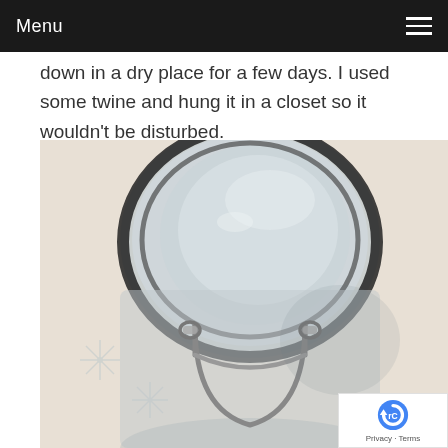Menu
down in a dry place for a few days. I used some twine and hung it in a closet so it wouldn't be disturbed.
[Figure (photo): Close-up photograph of an empty glass jar with a metal wire bail/latch closure, viewed from above at an angle, on a light patterned surface. A wooden lid is partially visible in the lower right corner.]